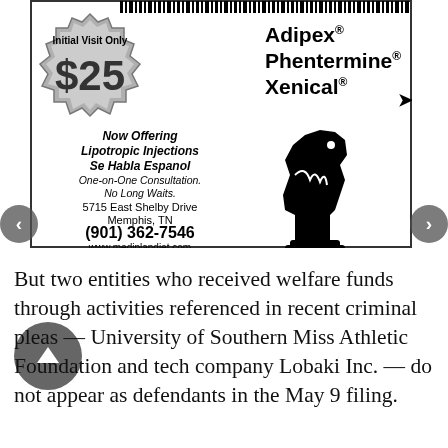[Figure (advertisement): Medical weight loss clinic advertisement for Mediplandiet.com. Features a starburst badge with 'Initial Visit Only $25', drug names Adipex, Phentermine, Xenical, lipotropic injections, Se Habla Espanol, one-on-one consultation, no long waits. Address: 5715 East Shelby Drive, Memphis, TN. Phone: (901) 362-7546. Website: www.mediplandiet.com. Includes chess knight illustration.]
But two entities who received welfare funds through activities referenced in recent criminal pleas — University of Southern Miss Athletic Foundation and tech company Lobaki Inc. — do not appear as defendants in the May 9 filing.